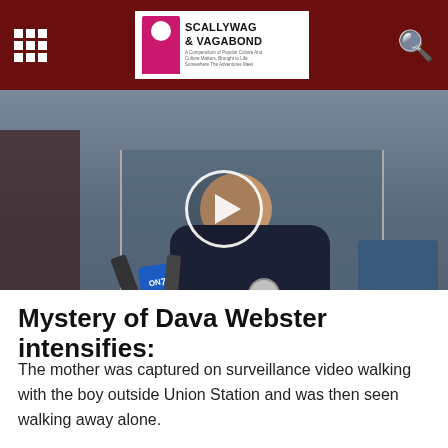SCALLYWAG & VAGABOND
[Figure (screenshot): Video thumbnail showing a police officer at a press conference with microphones. Overlay text reads 'Posted by LAPD Headquarters'. A play button circle is shown in the center. A Facebook icon appears in the bottom right.]
Mystery of Dava Webster intensifies:
The mother was captured on surveillance video walking with the boy outside Union Station and was then seen walking away alone.